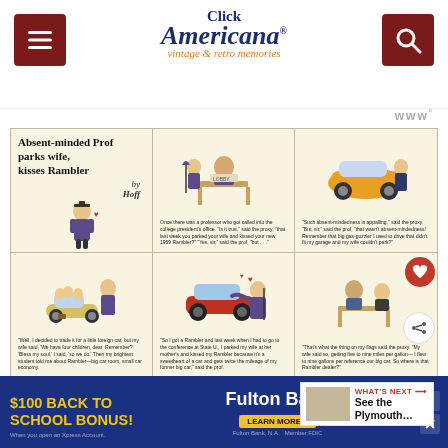Click Americana — vintage & retro memories
www
[Figure (illustration): Vintage comic advertisement for Rambler 1959: 'Absent-minded Prof parks wife, kisses Rambler' — six-panel comic strip by Hoff showing a professor who is so absent-minded he parks his wife and kisses his new Rambler. Top row: title panel with illustration of professor, middle panel showing professor called into college president's office, right panel showing Rambler car with professor. Bottom row: professor with family and small foreign car, professor kissing/hugging Rambler, professor at desk.]
Go Rambler for '59 - the Comp...
Get the Best of Both – Big Car Room – Small Car Economy
WHAT'S NEXT → See the Plymouth...
$100 BACK TO SCHOOL BONUS! When you open an Xpress Account.
Fulton Bank
LEARN MORE »
Fulton Bank, N.A. Member FDIC